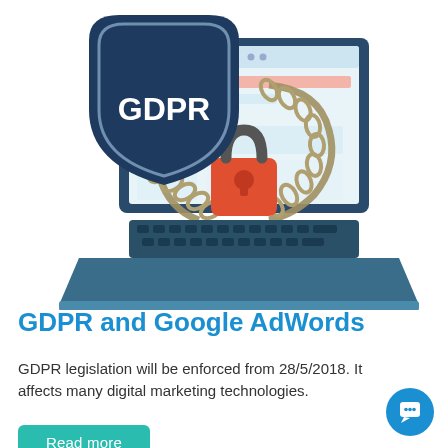[Figure (illustration): GDPR shield logo overlapping a laptop screen with a padlock and chain graphic, representing data security and GDPR compliance.]
GDPR and Google AdWords
GDPR legislation will be enforced from 28/5/2018. It affects many digital marketing technologies.
Read more